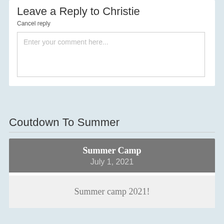Leave a Reply to Christie
Cancel reply
Enter your comment here...
Coutdown To Summer
Summer Camp
July 1, 2021
Summer camp 2021!